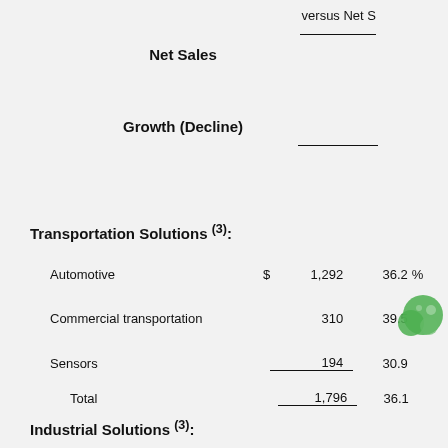versus Net S
|  | Net Sales | Growth (Decline) |  |
| --- | --- | --- | --- |
| Transportation Solutions (3): |  |  |  |
| Automotive | $ 1,292 | 36.2 | % |
| Commercial transportation | 310 | 39.5 |  |
| Sensors | 194 | 30.9 |  |
| Total | 1,796 | 36.1 |  |
Industrial Solutions (3):